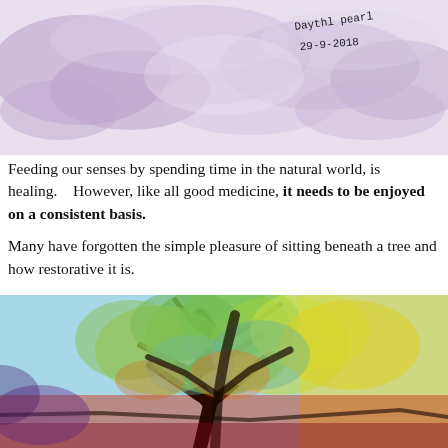[Figure (illustration): Watercolor painting of abstract cloud or landscape forms in muted purple and lavender tones, with a handwritten signature and date '29-9-2018' in the upper right corner.]
Feeding our senses by spending time in the natural world, is healing.   However, like all good medicine, it needs to be enjoyed on a consistent basis.

Many have forgotten the simple pleasure of sitting beneath a tree and how restorative it is.
[Figure (illustration): Vibrant digitally-rendered or painted illustration of a large tree with colorful foliage in greens, yellows, and oranges, with dark dramatic branches and a warm glowing background.]